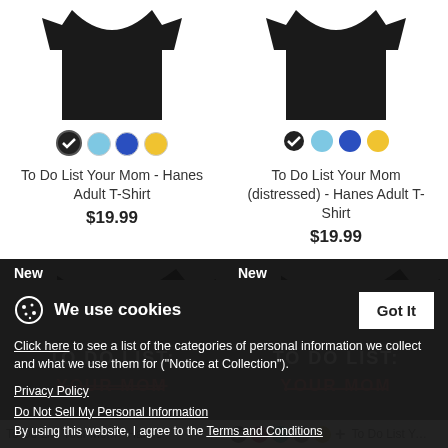[Figure (photo): Black t-shirt product image (top-left), shown from back]
[Figure (photo): Black t-shirt product image (top-right), shown from back]
To Do List Your Mom - Hanes Adult T-Shirt
$19.99
To Do List Your Mom (distressed) - Hanes Adult T-Shirt
$19.99
[Figure (photo): Black t-shirt with 'TO DO LIST: YOUR MOM' text, New badge, left product]
[Figure (photo): Black t-shirt with 'TO DO LIST: YOUR MOM' text, New badge, right product]
We use cookies
Click here to see a list of the categories of personal information we collect and what we use them for ("Notice at Collection").
Privacy Policy
Do Not Sell My Personal Information
By using this website, I agree to the Terms and Conditions
To Do List Your Mom - Hanes
To Do List Your Mom - Men's